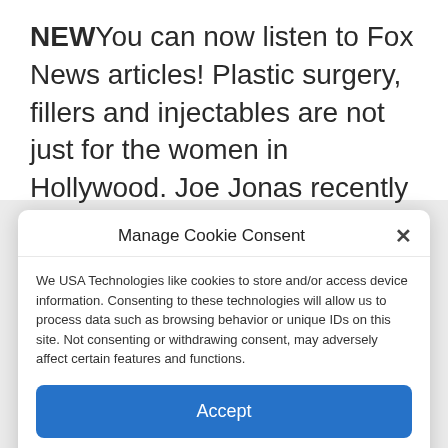NEWYou can now listen to Fox News articles! Plastic surgery, fillers and injectables are not just for the women in Hollywood. Joe Jonas recently said men should not be faced with a negative stigma if they decide to have work done. But they have to be careful. Back in April, Simon Cowell admitted to having ...
Manage Cookie Consent
We USA Technologies like cookies to store and/or access device information. Consenting to these technologies will allow us to process data such as browsing behavior or unique IDs on this site. Not consenting or withdrawing consent, may adversely affect certain features and functions.
Accept
Cookie Policy